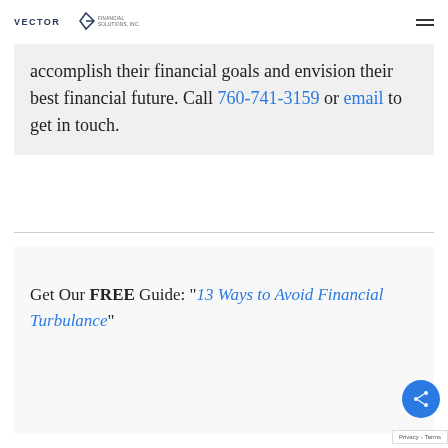VECTOR Financial Solutions, Inc.
accomplish their financial goals and envision their best financial future. Call 760-741-3159 or email to get in touch.
Get Our FREE Guide: "13 Ways to Avoid Financial Turbulance"